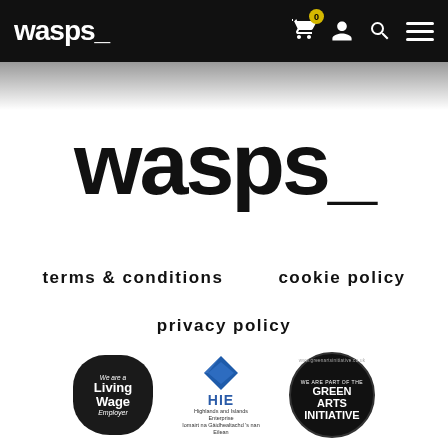wasps_  [navigation icons: cart (0), user, search, menu]
wasps_
terms & conditions
cookie policy
privacy policy
[Figure (logo): Three logos in a row: Living Wage Employer badge (black blob shape), HIE Highlands and Islands Enterprise logo (blue diamond with HIE text), Green Arts Initiative circular badge (black circle with green arts initiative text)]